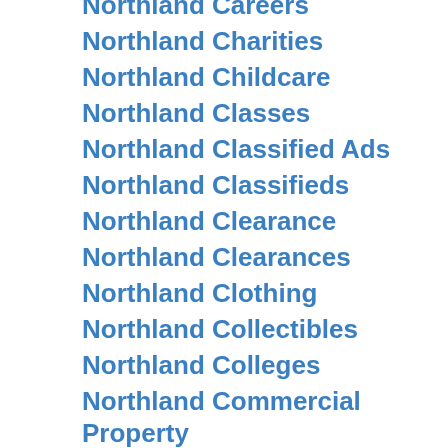Northland Careers
Northland Charities
Northland Childcare
Northland Classes
Northland Classified Ads
Northland Classifieds
Northland Clearance
Northland Clearances
Northland Clothing
Northland Collectibles
Northland Colleges
Northland Commercial Property
Northland Connected
Northalnd Consultants
Northland Coupon [image]
Northland Coupons
Northland Coupon Codes